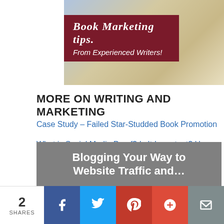[Figure (illustration): Partial banner image showing stacked books with a dark red/maroon overlay block containing italic bold text 'Book Marketing tips.' and subtitle 'From Experienced Writers!']
MORE ON WRITING AND MARKETING
Case Study – Failed Star-Studded Book Promotion
What is Social Media Proof? Is It Important? How Do You G…
26 Reasons a Writer Should Blog
[Figure (illustration): Gray banner block with white bold text 'Blogging Your Way to Website Traffic and…']
2 SHARES | Facebook | Twitter | Pinterest | Plus | Email share buttons